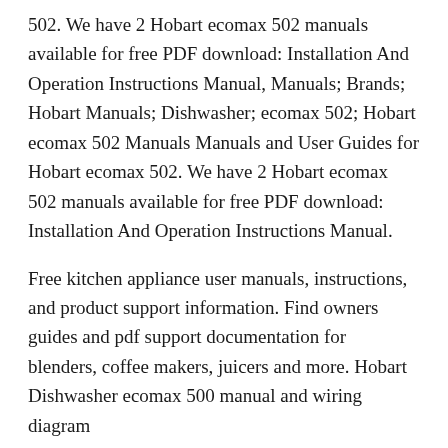502. We have 2 Hobart ecomax 502 manuals available for free PDF download: Installation And Operation Instructions Manual, Manuals; Brands; Hobart Manuals; Dishwasher; ecomax 502; Hobart ecomax 502 Manuals Manuals and User Guides for Hobart ecomax 502. We have 2 Hobart ecomax 502 manuals available for free PDF download: Installation And Operation Instructions Manual.
Free kitchen appliance user manuals, instructions, and product support information. Find owners guides and pdf support documentation for blenders, coffee makers, juicers and more. Hobart Dishwasher ecomax 500 manual and wiring diagram